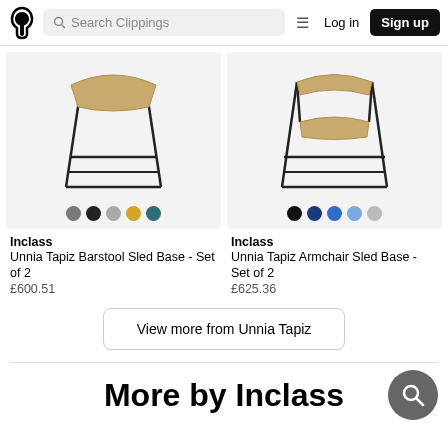Search Clippings | Log in | Sign up
[Figure (photo): Inclass Unnia Tapiz Barstool Sled Base product photo with color swatches (grey, black, grey, gold, teal)]
[Figure (photo): Inclass Unnia Tapiz Armchair Sled Base product photo with color swatches (black, dark blue, blue, light blue, grey)]
Inclass
Unnia Tapiz Barstool Sled Base - Set of 2
£600.51
Inclass
Unnia Tapiz Armchair Sled Base - Set of 2
£625.36
View more from Unnia Tapiz
More by Inclass